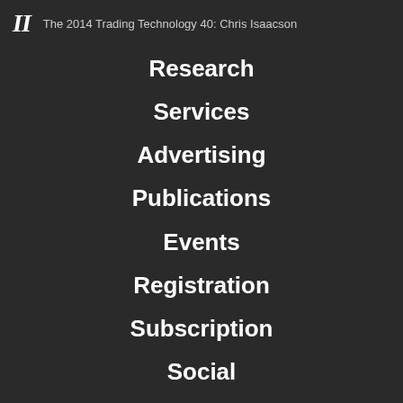II  The 2014 Trading Technology 40: Chris Isaacson
Research
Services
Advertising
Publications
Events
Registration
Subscription
Social